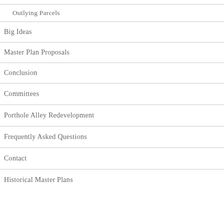Outlying Parcels
Big Ideas
Master Plan Proposals
Conclusion
Committees
Porthole Alley Redevelopment
Frequently Asked Questions
Contact
Historical Master Plans